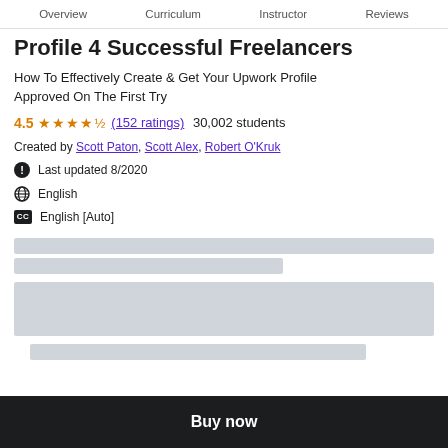Overview  Curriculum  Instructor  Reviews
Profile 4 Successful Freelancers
How To Effectively Create & Get Your Upwork Profile Approved On The First Try
4.5 ★★★★½ (152 ratings)  30,002 students
Created by Scott Paton, Scott Alex, Robert O'Kruk
Last updated 8/2020
English
English [Auto]
[Figure (other): Gray placeholder bars for blurred content]
[Figure (other): Gray placeholder box for blurred content]
[Figure (other): Gray placeholder bar at bottom]
Buy now